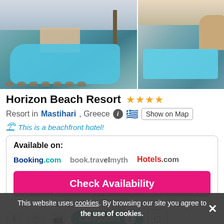[Figure (photo): Two hotel resort photos side by side showing swimming pools, palm trees, and beach resort facilities at Horizon Beach Resort]
Horizon Beach Resort ★★★★
Resort in Mastihari , Greece  Show on Map
This is a beachfront hotel!
Available on: Booking.com  book.travelmyth  Hotels.com
Check Availability
Categories 1
This website uses cookies. By browsing our site you agree to the use of cookies.